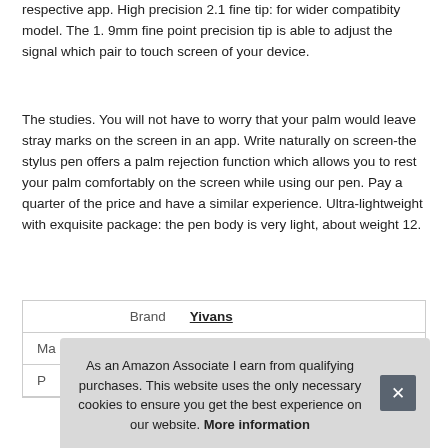respective app. High precision 2.1 fine tip: for wider compatibity model. The 1. 9mm fine point precision tip is able to adjust the signal which pair to touch screen of your device.
The studies. You will not have to worry that your palm would leave stray marks on the screen in an app. Write naturally on screen-the stylus pen offers a palm rejection function which allows you to rest your palm comfortably on the screen while using our pen. Pay a quarter of the price and have a similar experience. Ultra-lightweight with exquisite package: the pen body is very light, about weight 12.
|  |  |
| --- | --- |
| Brand | Yivans |
| Ma |  |
| P |  |
As an Amazon Associate I earn from qualifying purchases. This website uses the only necessary cookies to ensure you get the best experience on our website. More information